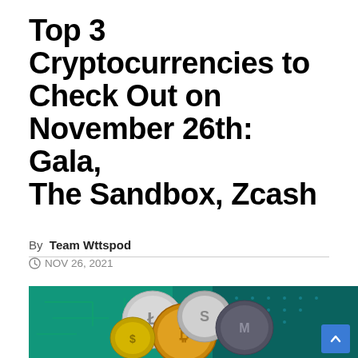Top 3 Cryptocurrencies to Check Out on November 26th: Gala, The Sandbox, Zcash
By Team Wttspod
NOV 26, 2021
[Figure (photo): Photo of multiple cryptocurrency coins (Bitcoin, Litecoin, and others) on a green circuit board background]